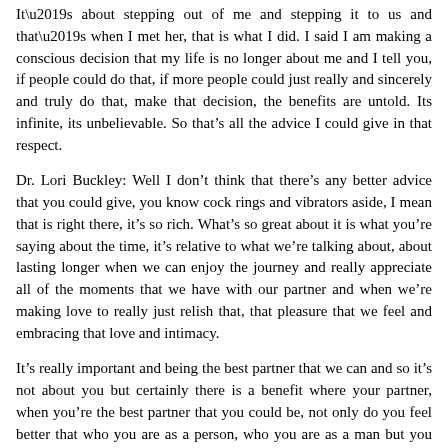It’s about stepping out of me and stepping it to us and that’s when I met her, that is what I did. I said I am making a conscious decision that my life is no longer about me and I tell you, if people could do that, if more people could just really and sincerely and truly do that, make that decision, the benefits are untold. Its infinite, its unbelievable. So that’s all the advice I could give in that respect.
Dr. Lori Buckley: Well I don’t think that there’s any better advice that you could give, you know cock rings and vibrators aside, I mean that is right there, it’s so rich. What’s so great about it is what you’re saying about the time, it’s relative to what we’re talking about, about lasting longer when we can enjoy the journey and really appreciate all of the moments that we have with our partner and when we’re making love to really just relish that, that pleasure that we feel and embracing that love and intimacy.
It’s really important and being the best partner that we can and so it’s not about you but certainly there is a benefit where your partner, when you’re the best partner that you could be, not only do you feel better that who you are as a person, who you are as a man but you have a very happy life, a happy partner and therefore, she is at that point, going to be the best partner that she can be and you have a very strong nurturing relationship.
I’m Dr. Lori — I think there’s so much we can do and that’s…